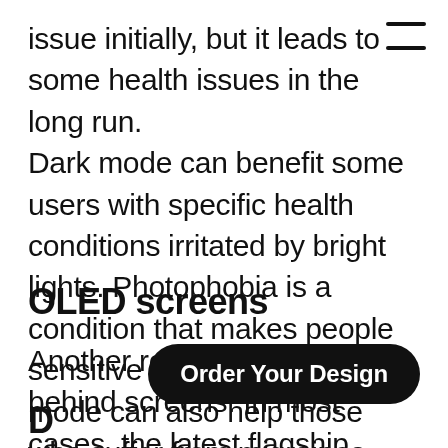issue initially, but it leads to some health issues in the long run. Dark mode can benefit some users with specific health conditions irritated by bright lights. Photophobia is a condition that makes people sensitive to light. Using dark mode can also help those who suffer from migraines.
OLED screens
Another reason is innovations behind screens. In most cases, the latest flagship models of phones have OLED screens that don't require a backlig
Order Your Design